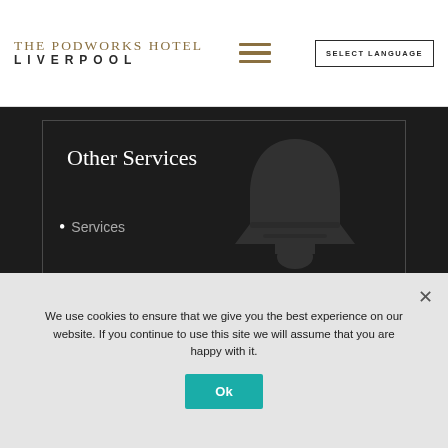THE PODWORKS HOTEL LIVERPOOL
Other Services
Services
We use cookies to ensure that we give you the best experience on our website. If you continue to use this site we will assume that you are happy with it.